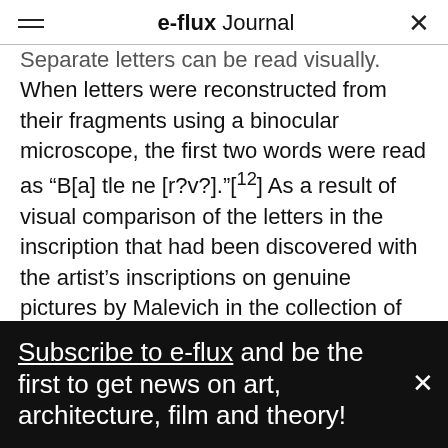e-flux Journal
Separate letters can be read visually. When letters were reconstructed from their fragments using a binocular microscope, the first two words were read as “B[a] tle ne [r?v?].”[¹²] As a result of visual comparison of the letters in the inscription that had been discovered with the artist’s inscriptions on genuine pictures by Malevich in the collection of the Tretyakov Gallery, we [the collective of the Tretyakov Gallery] came to the conclusion that it was made by the artist’s own hand. The position of the
Subscribe to e-flux and be the first to get news on art, architecture, film and theory!